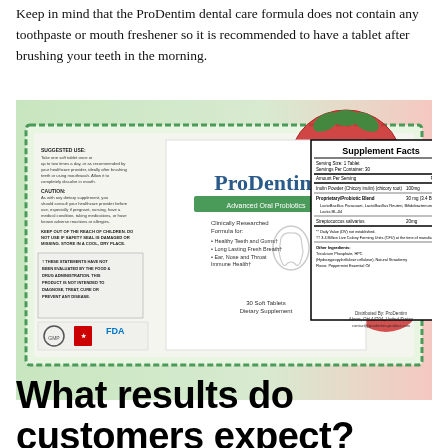Keep in mind that the ProDentim dental care formula does not contain any toothpaste or mouth freshener so it is recommended to have a tablet after brushing your teeth in the morning.
[Figure (photo): ProDentim product label showing supplement facts, ingredients, suggested use, caution, FDA information, and strawberries in the background. Label reads: ProDentim Advanced Oral Probiotics, Clinically Researched Formula for Healthy Teeth and Gums, Long Lasting Fresh Breath, Ear Nose and Throat Immune Health, 30 Soft Tablets Dietary Supplement.]
What results do customers expect?